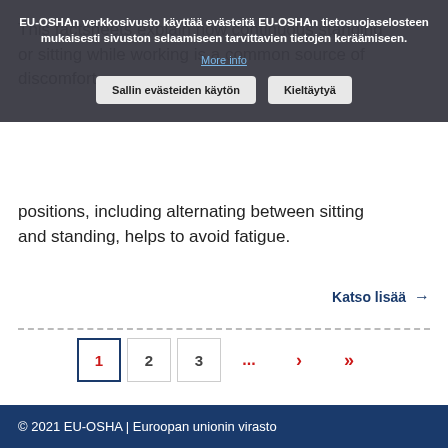[Figure (screenshot): Cookie consent overlay banner with Finnish text, a 'More info' link, and two buttons: 'Sallin evästeiden käytön' and 'Kieltäytyä']
This factsheets explain how continuous standing or sitting while working is a common source of discomfort. Changing the type and range of body positions, including alternating between sitting and standing, helps to avoid fatigue.
Katso lisää →
1  2  3  ...  >  >>
© 2021 EU-OSHA | Euroopan unionin virasto